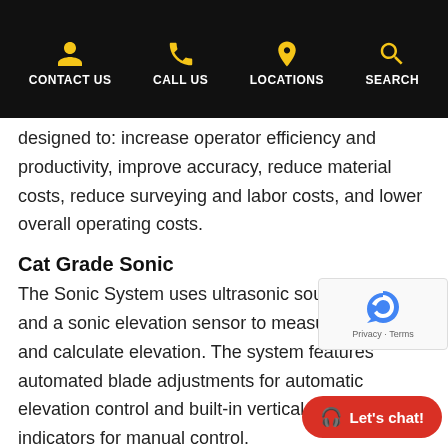CONTACT US  CALL US  LOCATIONS  SEARCH
designed to: increase operator efficiency and productivity, improve accuracy, reduce material costs, reduce surveying and labor costs, and lower overall operating costs.
Cat Grade Sonic
The Sonic System uses ultrasonic sound waves and a sonic elevation sensor to measure distance and calculate elevation. The system features automated blade adjustments for automatic elevation control and built-in vertical guidance indicators for manual control.
Cat Grade Cross Slope
The Cross Slope System uses three machi...